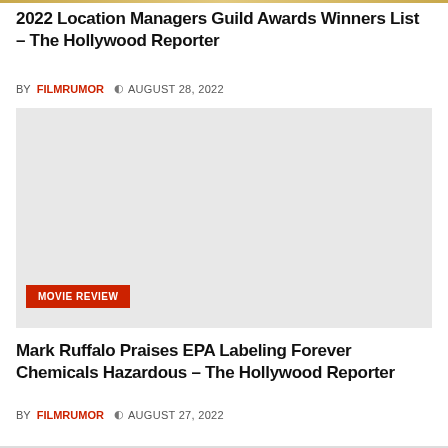2022 Location Managers Guild Awards Winners List – The Hollywood Reporter
BY FILMRUMOR  AUGUST 28, 2022
[Figure (photo): Light gray placeholder image with a MOVIE REVIEW red tag overlay in the bottom-left corner]
Mark Ruffalo Praises EPA Labeling Forever Chemicals Hazardous – The Hollywood Reporter
BY FILMRUMOR  AUGUST 27, 2022